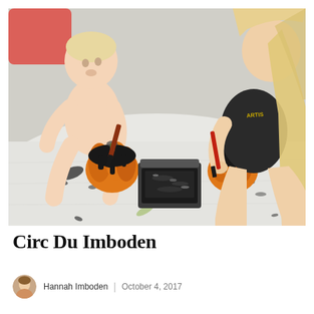[Figure (photo): A baby and a child painting small orange pumpkins with black paint, sitting on a white drop cloth outdoors. There are paintbrushes and a container of black paint between them.]
Circ Du Imboden
Hannah Imboden | October 4, 2017